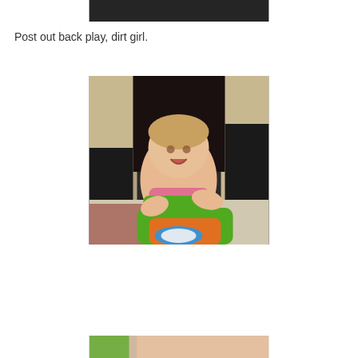[Figure (photo): Partial photo at top of page, dark background]
Post out back play, dirt girl.
[Figure (photo): Baby girl in pink sleeveless top holding green toy walker/steering wheel, sitting on a rug with dark fireplace and stone wall in background]
[Figure (photo): Partial photo at bottom of page, partially visible]